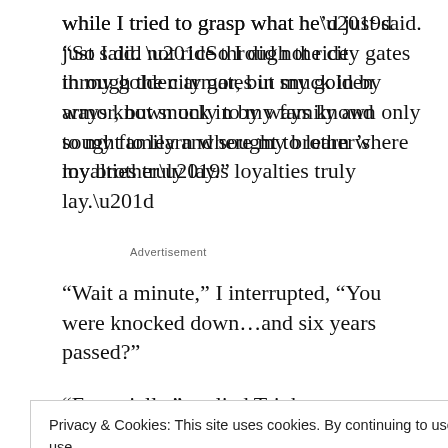while I tried to grasp what he’d just said. “So I did not ride through the city gates in my golden armor, but snuck in by ways known only to my family and sought to learn where my brother’s loyalties truly lay.”
Advertisement
“Wait a minute,” I interrupted, “You were knocked down…and six years passed?”
“Essentially,” replied Trinh
Privacy & Cookies: This site uses cookies. By continuing to use this website, you agree to their use.
To find out more, including how to control cookies, see here: Cookie Policy